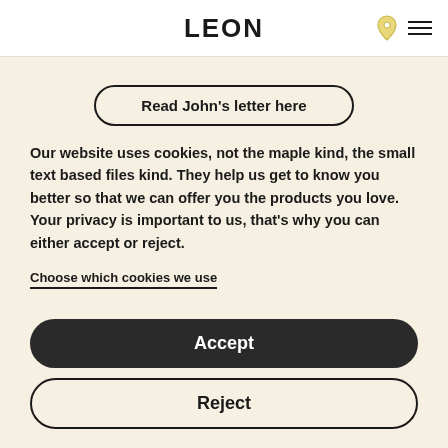LEON
Read John's letter here
Our website uses cookies, not the maple kind, the small text based files kind. They help us get to know you better so that we can offer you the products you love. Your privacy is important to us, that's why you can either accept or reject.
Choose which cookies we use
Accept
Reject